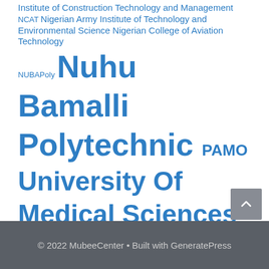Institute of Construction Technology and Management NCAT Nigerian Army Institute of Technology and Environmental Science Nigerian College of Aviation Technology NUBAPoly Nuhu Bamalli Polytechnic PAMO University Of Medical Sciences Petroleum Training Institute PTI The Federal Polytechnic Ado-Ekiti Waziri Umaru Federal Polytechnic Yaba College Of Technology YABATECH
© 2022 MubeeCenter • Built with GeneratePress